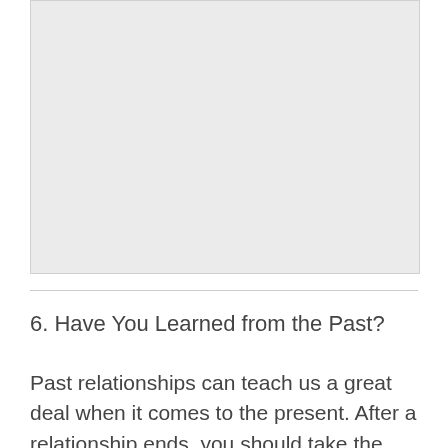[Figure (other): Blank light gray placeholder image area]
6. Have You Learned from the Past?
Past relationships can teach us a great deal when it comes to the present. After a relationship ends, you should take the time to